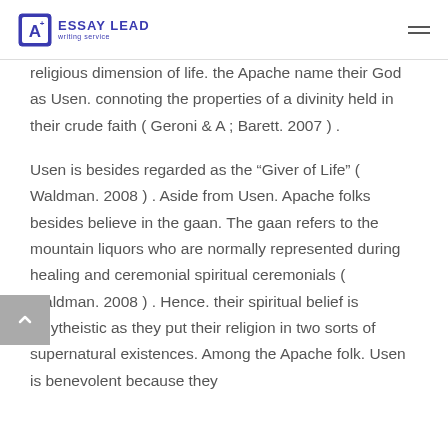ESSAY LEAD writing service
religious dimension of life. the Apache name their God as Usen. connoting the properties of a divinity held in their crude faith ( Geroni & A ; Barett. 2007 ) .
Usen is besides regarded as the “Giver of Life” ( Waldman. 2008 ) . Aside from Usen. Apache folks besides believe in the gaan. The gaan refers to the mountain liquors who are normally represented during healing and ceremonial spiritual ceremonials ( Waldman. 2008 ) . Hence. their spiritual belief is polytheistic as they put their religion in two sorts of supernatural existences. Among the Apache folk. Usen is benevolent because they